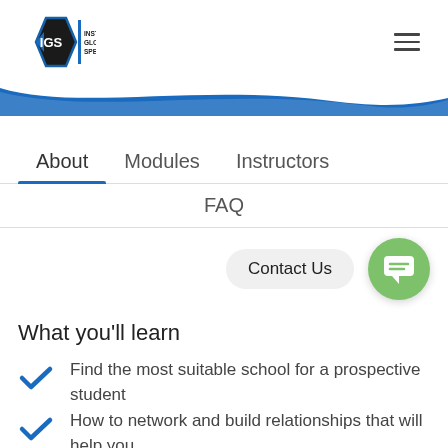[Figure (logo): Institute of Global Specialists (IGS) logo with diamond shape and text]
[Figure (illustration): Blue wave divider banner]
About    Modules    Instructors
FAQ
Contact Us
What you'll learn
Find the most suitable school for a prospective student
How to network and build relationships that will help you